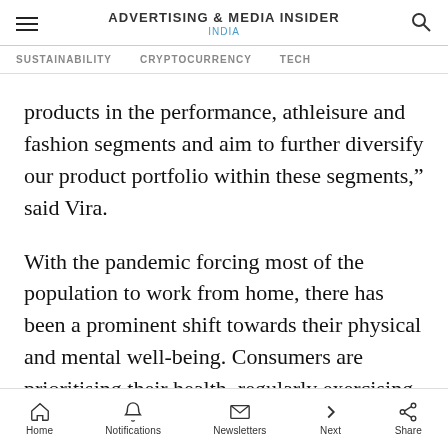ADVERTISING & MEDIA INSIDER INDIA
SUSTAINABILITY   CRYPTOCURRENCY   TECH
products in the performance, athleisure and fashion segments and aim to further diversify our product portfolio within these segments,” said Vira.
With the pandemic forcing most of the population to work from home, there has been a prominent shift towards their physical and mental well-being. Consumers are prioritising their health, regularly exercising and making
Home   Notifications   Newsletters   Next   Share